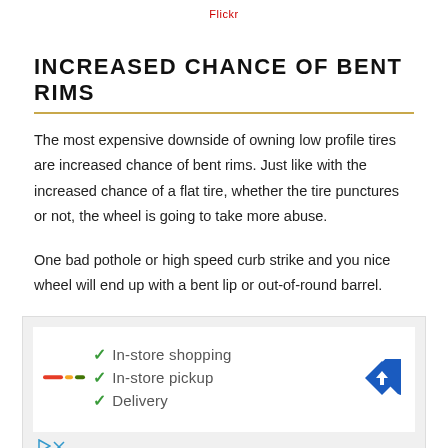Flickr
INCREASED CHANCE OF BENT RIMS
The most expensive downside of owning low profile tires are increased chance of bent rims. Just like with the increased chance of a flat tire, whether the tire punctures or not, the wheel is going to take more abuse.
One bad pothole or high speed curb strike and you nice wheel will end up with a bent lip or out-of-round barrel.
[Figure (other): Advertisement banner with checkmarks listing: In-store shopping, In-store pickup, Delivery. Includes a logo on the left and a blue diamond-shaped navigation arrow icon on the right.]